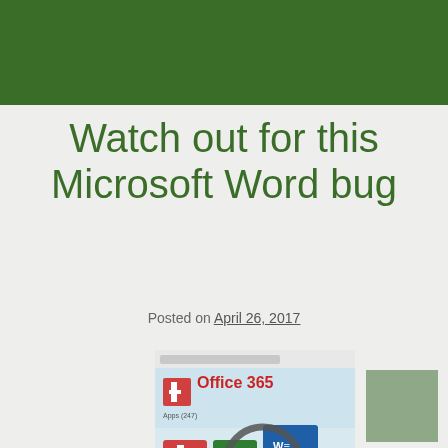Watch out for this Microsoft Word bug
Posted on April 26, 2017
[Figure (screenshot): Office 365 screenshot showing Microsoft Office apps including Word and SharePoint with a magnifying glass overlay]
[Figure (other): Muted green decorative square]